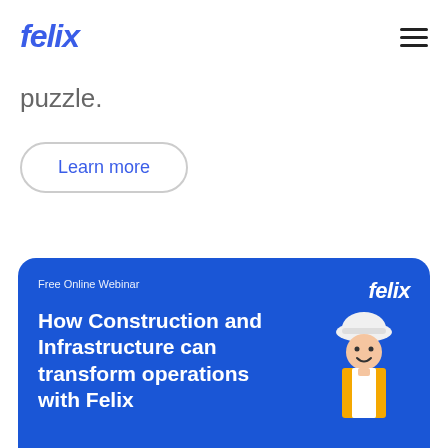felix
puzzle.
Learn more
[Figure (illustration): Blue card with Free Online Webinar text, felix logo in white, and title 'How Construction and Infrastructure can transform operations with Felix' with a construction worker illustration on the right]